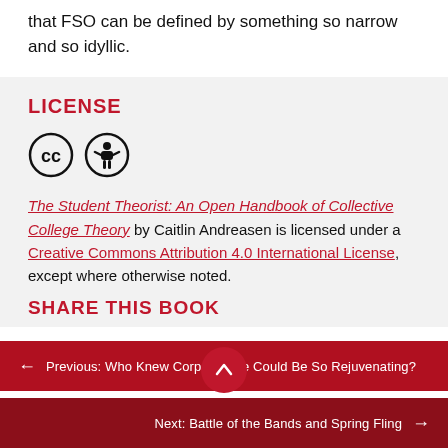that FSO can be defined by something so narrow and so idyllic.
LICENSE
[Figure (illustration): Creative Commons CC and Attribution (BY) license icons — two circular icons side by side]
The Student Theorist: An Open Handbook of Collective College Theory by Caitlin Andreasen is licensed under a Creative Commons Attribution 4.0 International License, except where otherwise noted.
SHARE THIS BOOK
Previous: Who Knew Corpse Pose Could Be So Rejuvenating?
Next: Battle of the Bands and Spring Fling